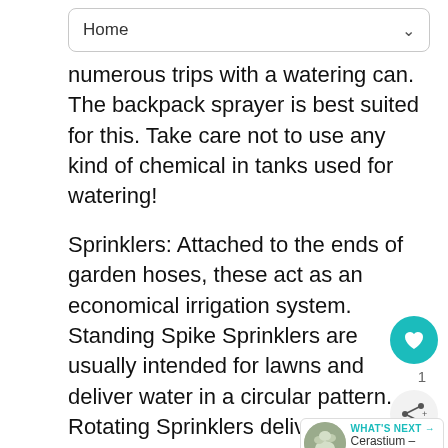Home
numerous trips with a watering can. The backpack sprayer is best suited for this. Take care not to use any kind of chemical in tanks used for watering!
Sprinklers: Attached to the ends of garden hoses, these act as an economical irrigation system. Standing Spike Sprinklers are usually intended for lawns and deliver water in a circular pattern. Rotating Sprinklers deliver a circle of water and are perfect for lawns, shrubs and flower beds. Pulse-jet sprinklers cover large areas of ground in a pulsating, circular pattern. The head sits up on a tall stem, except for when watering lawns. Oscillating sprinklers are